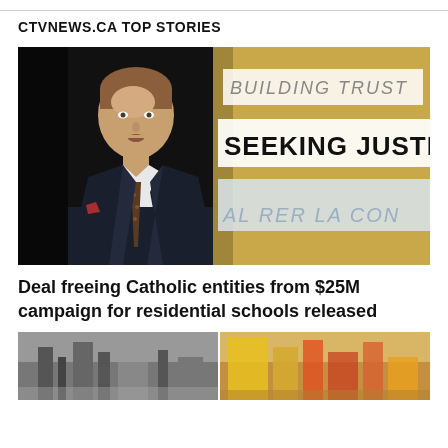CTVNEWS.CA TOP STORIES
[Figure (photo): A man in a dark suit and patterned tie speaking at a podium or event, with a yellow/gold banner behind him reading 'BUILDING TRUST' and 'SEEKING JUSTICE' and partial French text 'RER LA CON']
Deal freeing Catholic entities from $25M campaign for residential schools released
[Figure (photo): Partial bottom image showing industrial or warehouse setting, split into two panels]